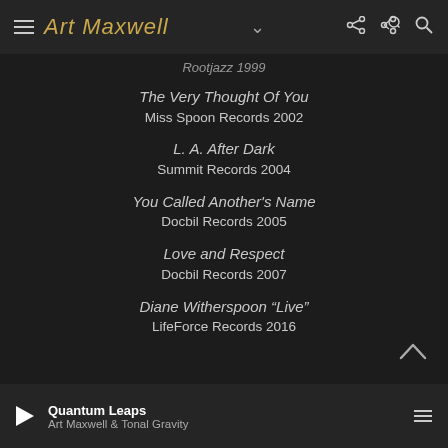Art Maxwell — Navigation bar with logo, share and search icons
Rootjazz 1999
The Very Thought Of You
Miss Spoon Records 2002
L. A. After Dark
Summit Records 2004
You Called Another's Name
Docbil Records 2005
Love and Respect
Docbil Records 2007
Diane Witherspoon "Live"
LifeForce Records 2016
Quantum Leaps — Art Maxwell & Tonal Gravity